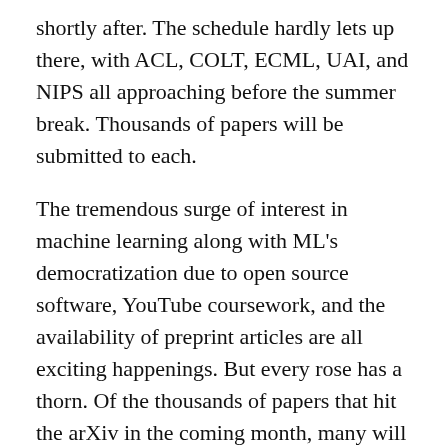shortly after. The schedule hardly lets up there, with ACL, COLT, ECML, UAI, and NIPS all approaching before the summer break. Thousands of papers will be submitted to each.
The tremendous surge of interest in machine learning along with ML's democratization due to open source software, YouTube coursework, and the availability of preprint articles are all exciting happenings. But every rose has a thorn. Of the thousands of papers that hit the arXiv in the coming month, many will be unreadable. Poor writing will damn some to rejection while others will fail to reach their potential impact. Even among accepted and influential papers, careless writing will sow